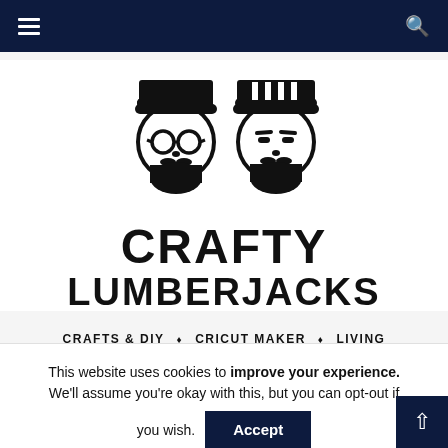Navigation bar with hamburger menu and search icon
[Figure (logo): Crafty Lumberjacks logo: two cartoon bearded men wearing beanies, one with round glasses, one with square visor, above bold text CRAFTY LUMBERJACKS]
CRAFTS & DIY ◇ CRICUT MAKER ◇ LIVING
This website uses cookies to improve your experience. We'll assume you're okay with this, but you can opt-out if you wish. Accept